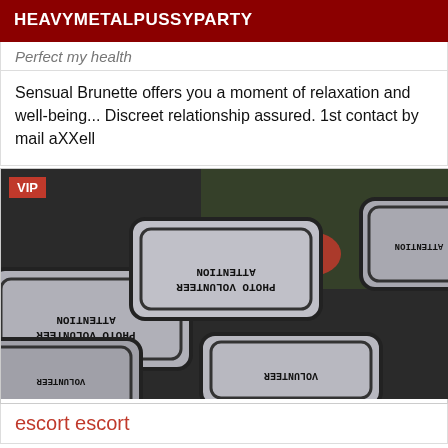HEAVYMETALPUSSYPARTY
Perfect my health
Sensual Brunette offers you a moment of relaxation and well-being... Discreet relationship assured. 1st contact by mail aXXell
[Figure (photo): Photo of metallic badge tokens or plates with mirrored/reversed text reading 'ATTENTION PHOTO VOLUNTEER', VIP label in red corner]
escort escort